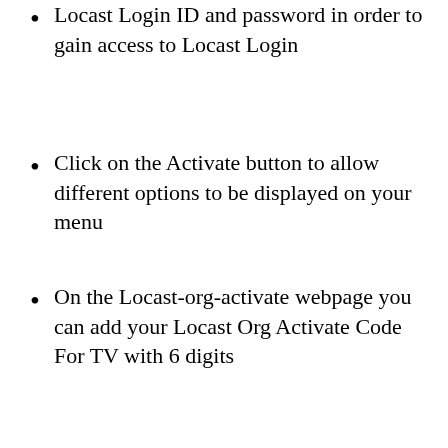Locast Login ID and password in order to gain access to Locast Login
Click on the Activate button to allow different options to be displayed on your menu
On the Locast-org-activate webpage you can add your Locast Org Activate Code For TV with 6 digits
Then click on Submit
Once you have completed the steps, you'll be able access all features of Locast.